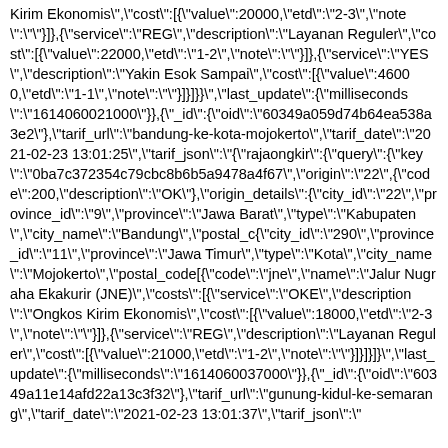Kirim Ekonomis","cost":[{"value":20000,"etd":"2-3","note":""}]},{"service":"REG","description":"Layanan Reguler","cost":[{"value":22000,"etd":"1-2","note":""}]},{"service":"YES","description":"Yakin Esok Sampai","cost":[{"value":46000,"etd":"1-1","note":""}]}]}}","last_update":{"milliseconds":"1614060021000"}},{"_id":{"oid":"60349a059d74b64ea538a3e2"},"tarif_url":"bandung-ke-kota-mojokerto","tarif_date":"2021-02-23 13:01:25","tarif_json":"{"rajaongkir":{"query":{"key":"0ba7c372354c79cbc8b6b5a9478a4f67","origin":"22",{"code":200,"description":"OK"},"origin_details":{"city_id":"22","province_id":"9","province":"Jawa Barat","type":"Kabupaten","city_name":"Bandung","postal_c{"city_id":"290","province_id":"11","province":"Jawa Timur","type":"Kota","city_name":"Mojokerto","postal_code[{"code":"jne","name":"Jalur Nugraha Ekakurir (JNE)","costs":[{"service":"OKE","description":"Ongkos Kirim Ekonomis","cost":[{"value":18000,"etd":"2-3","note":""}]},{"service":"REG","description":"Layanan Reguler","cost":[{"value":21000,"etd":"1-2","note":""}]}]}]}","last_update":{"milliseconds":"1614060037000"},{"_id":{"oid":"60349a11e14afd22a13c3f32"},"tarif_url":"gunung-kidul-ke-semarang","tarif_date":"2021-02-23 13:01:37","tarif_json":